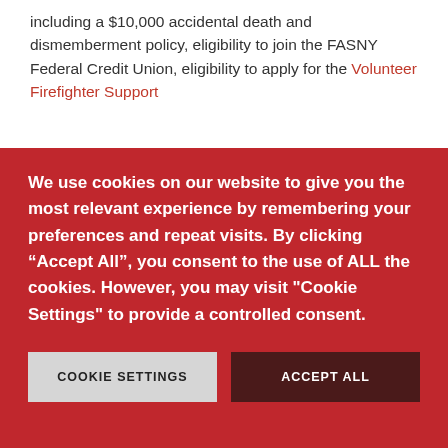including a $10,000 accidental death and dismemberment policy, eligibility to join the FASNY Federal Credit Union, eligibility to apply for the Volunteer Firefighter Support
We use cookies on our website to give you the most relevant experience by remembering your preferences and repeat visits. By clicking “Accept All”, you consent to the use of ALL the cookies. However, you may visit "Cookie Settings" to provide a controlled consent.
COOKIE SETTINGS
ACCEPT ALL